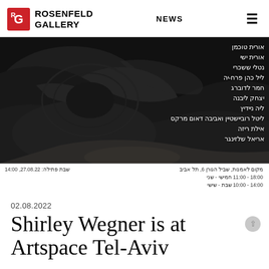ROSENFELD GALLERY | NEWS
[Figure (photo): Close-up photograph of what appears to be dark vinyl records or reflective dark surfaces, with Hebrew text overlay on the right side listing artist names including: אורית טוכמן, אורית ישי, נטלי ששכרי, ליל כהן פרח-יה, חמר לדוברג, יצחק ליבנה, ליה ניידיץ, ליטל רוביישטיין ואביבה דאום מרקס, אילת ריזה, אריאל שלזינגר]
מקום לאמנות, שביל הגורן 6, תל אביב | שני - חמישי 11:00 - 18:00 | שישי - שבת 10:00 - 14:00 | פתילה: שבת 27.08.22, 14:00
02.08.2022
Shirley Wegner is at Artspace Tel-Aviv